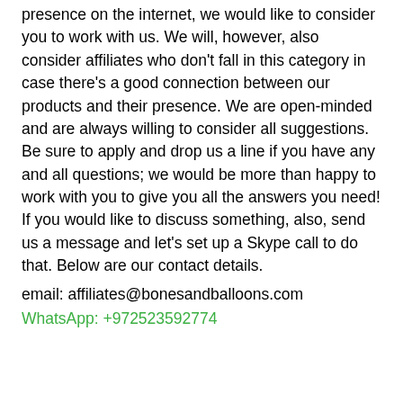presence on the internet, we would like to consider you to work with us. We will, however, also consider affiliates who don't fall in this category in case there's a good connection between our products and their presence. We are open-minded and are always willing to consider all suggestions. Be sure to apply and drop us a line if you have any and all questions; we would be more than happy to work with you to give you all the answers you need! If you would like to discuss something, also, send us a message and let's set up a Skype call to do that. Below are our contact details.
email: affiliates@bonesandballoons.com
WhatsApp: +972523592774